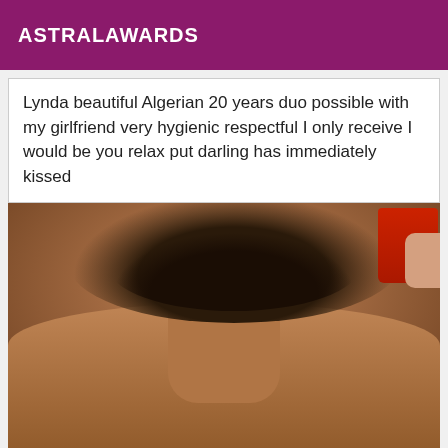ASTRALAWARDS
Lynda beautiful Algerian 20 years duo possible with my girlfriend very hygienic respectful I only receive I would be you relax put darling has immediately kissed
[Figure (photo): Photo of a person's upper torso and lower face with a beard, holding a red cup, shirtless, taken in a bathroom/indoor setting]